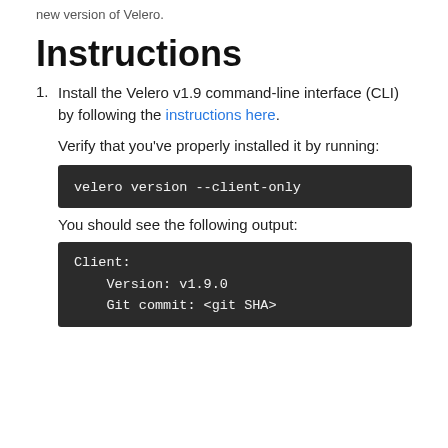new version of Velero.
Instructions
Install the Velero v1.9 command-line interface (CLI) by following the instructions here.

Verify that you've properly installed it by running:

velero version --client-only

You should see the following output:

Client:
    Version: v1.9.0
    Git commit: <git SHA>